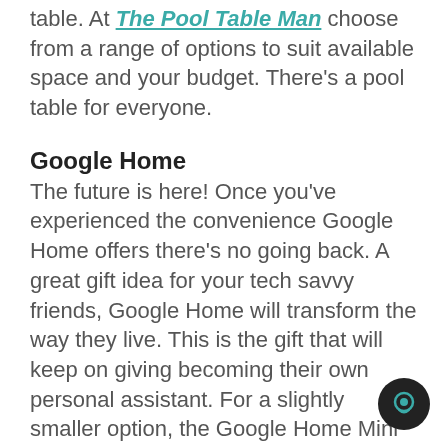table. At The Pool Table Man choose from a range of options to suit available space and your budget. There's a pool table for everyone.
Google Home
The future is here! Once you've experienced the convenience Google Home offers there's no going back. A great gift idea for your tech savvy friends, Google Home will transform the way they live. This is the gift that will keep on giving becoming their own personal assistant. For a slightly smaller option, the Google Home Mini is also a cool choice.
Lululemon backpack
Everyone has a friend who's keen on